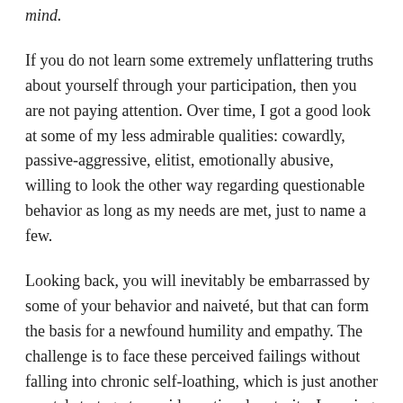mind.
If you do not learn some extremely unflattering truths about yourself through your participation, then you are not paying attention. Over time, I got a good look at some of my less admirable qualities: cowardly, passive-aggressive, elitist, emotionally abusive, willing to look the other way regarding questionable behavior as long as my needs are met, just to name a few.
Looking back, you will inevitably be embarrassed by some of your behavior and naiveté, but that can form the basis for a newfound humility and empathy. The challenge is to face these perceived failings without falling into chronic self-loathing, which is just another mental strategy to avoid emotional maturity. Learning to accept yourself as you are involves embracing a lot of orphaned attributes that you kicked to the curb early in life in order to fit in and feel accepted.